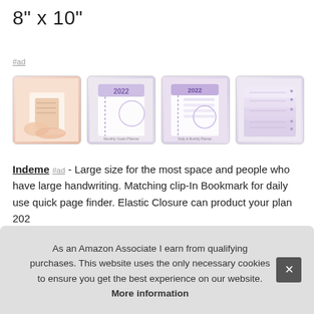8" x 10"
#ad
[Figure (photo): Four product images of 2022 planners/journals in purple and pink tones, showing the planner covers and interior pages.]
Indeme #ad - Large size for the most space and people who have large handwriting. Matching clip-In Bookmark for daily use quick page finder. Elastic Closure can product your plan... 202... thro... spa...
As an Amazon Associate I earn from qualifying purchases. This website uses the only necessary cookies to ensure you get the best experience on our website. More information